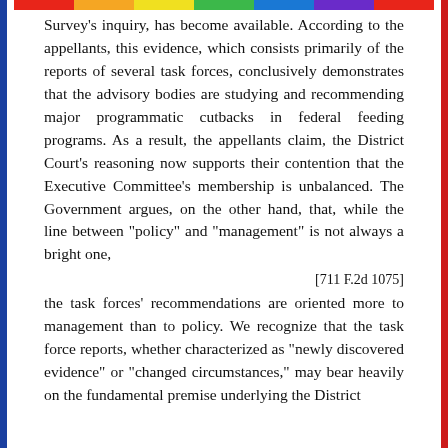Survey's inquiry, has become available. According to the appellants, this evidence, which consists primarily of the reports of several task forces, conclusively demonstrates that the advisory bodies are studying and recommending major programmatic cutbacks in federal feeding programs. As a result, the appellants claim, the District Court's reasoning now supports their contention that the Executive Committee's membership is unbalanced. The Government argues, on the other hand, that, while the line between "policy" and "management" is not always a bright one,
[711 F.2d 1075]
the task forces' recommendations are oriented more to management than to policy. We recognize that the task force reports, whether characterized as "newly discovered evidence" or "changed circumstances," may bear heavily on the fundamental premise underlying the District